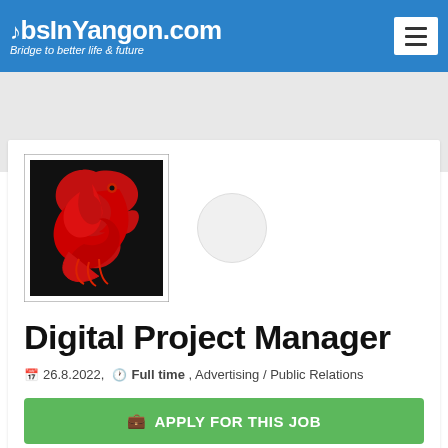JobsInYangon.com — Bridge to better life & future
[Figure (logo): Company logo with red dragon/phoenix on black background with white border frame]
Digital Project Manager
26.8.2022, Full time , Advertising / Public Relations
APPLY FOR THIS JOB